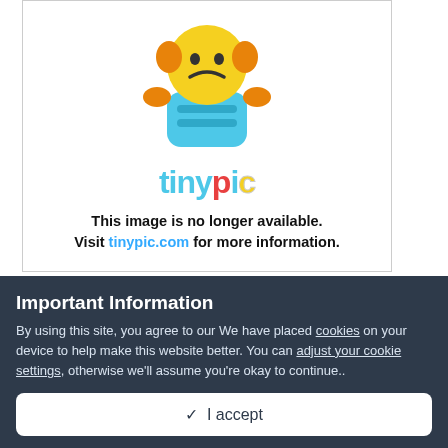[Figure (illustration): Tinypic mascot (cartoon robot/character with yellow head, orange ears, blue body) and 'tinypic' colorful logo text. Below: bold text reading 'This image is no longer available. Visit tinypic.com for more information.']
Light Yagami (Death Note), Setsuna F. Seiei (Mobile Suit Gundam 00), Tamaki Suou (Ouran High School Host Club)
Important Information
By using this site, you agree to our We have placed cookies on your device to help make this website better. You can adjust your cookie settings, otherwise we'll assume you're okay to continue..
I accept